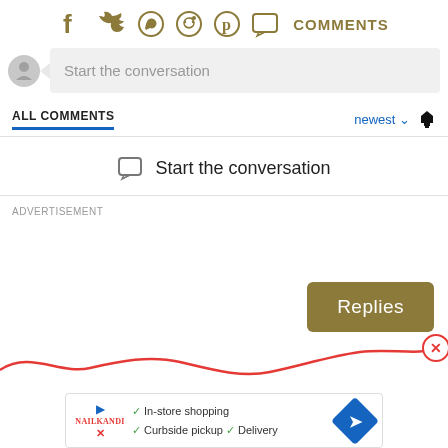[Figure (screenshot): Social media sharing icons: Facebook, Twitter, WhatsApp, Reddit, Pinterest, Comments chat bubble, followed by COMMENTS label in olive/gold color]
Start the conversation
ALL COMMENTS
newest
Start the conversation
ADVERTISEMENT
Replies
[Figure (illustration): Red wavy line with a red circle X close button on the right end]
[Figure (screenshot): Ad banner with play button, brand logo in red, green checkmarks for In-store shopping, Curbside pickup, Delivery, and a blue diamond navigation icon]